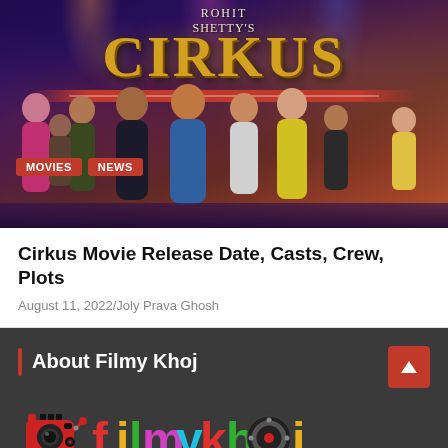[Figure (photo): Movie poster for Rohit Shetty's Cirkus featuring ensemble cast with MOVIES and NEWS tags]
Cirkus Movie Release Date, Casts, Crew, Plots
August 11, 2022/Joly Prava Ghosh
About Filmy Khoj
[Figure (logo): Filmykhoj logo with camera icon and colorful text spelling filmykhoj]